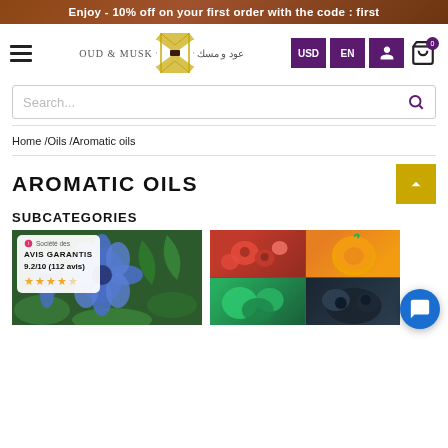Enjoy - 10% off on your first order with the code : first
[Figure (logo): OUD & MUSK logo with Arabic text and decorative icon, navigation icons for USD, EN, user, and cart]
Search...
Home /Oils /Aromatic oils
AROMATIC OILS
SUBCATEGORIES
[Figure (photo): Blue flowers / aromatic plant thumbnail with Avis Garantis overlay showing 9.2/10 (112 avis) and star rating]
[Figure (photo): Grid of fruit images including red berries, orange/peach, and dark berries]